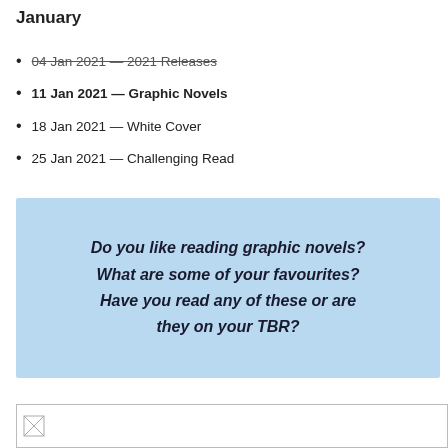January
04 Jan 2021 — 2021 Releases
11 Jan 2021 — Graphic Novels
18 Jan 2021 — White Cover
25 Jan 2021 — Challenging Read
Do you like reading graphic novels? What are some of your favourites? Have you read any of these or are they on your TBR?
[Figure (other): Broken image placeholder at bottom of page]